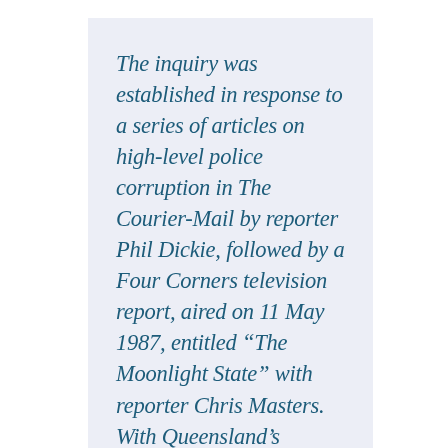The inquiry was established in response to a series of articles on high-level police corruption in The Courier-Mail by reporter Phil Dickie, followed by a Four Corners television report, aired on 11 May 1987, entitled “The Moonlight State” with reporter Chris Masters. With Queensland’s Premier of 18 years, Sir Joh Bielke-Petersen, out